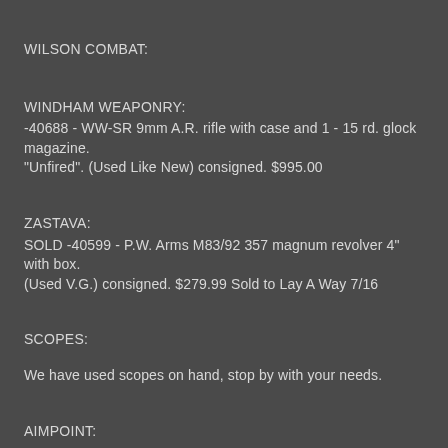WILSON COMBAT:
WINDHAM WEAPONRY:
-40688 - WW-SR 9mm A.R. rifle with case and 1 - 15 rd. glock magazine. "Unfired". (Used Like New) consigned. $995.00
ZASTAVA:
SOLD -40599 - P.W. Arms M83/92 357 magnum revolver 4" with box. (Used V.G.) consigned. $279.99 Sold to Lay A Way 7/16
SCOPES:
We have used scopes on hand, stop by with your needs.
AIMPOINT:
BAUSCH & LOMB:
BEEMAN: